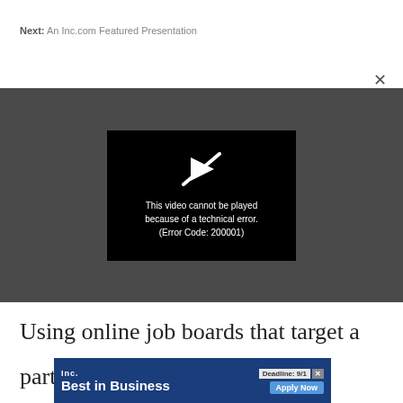Next: An Inc.com Featured Presentation
[Figure (screenshot): Video player showing error message: 'This video cannot be played because of a technical error. (Error Code: 200001)' on dark background with play icon crossed out]
Using online job boards that target a parti...to
[Figure (other): Inc. Best in Business advertisement banner with 'Deadline: 9/1' and 'Apply Now' button]